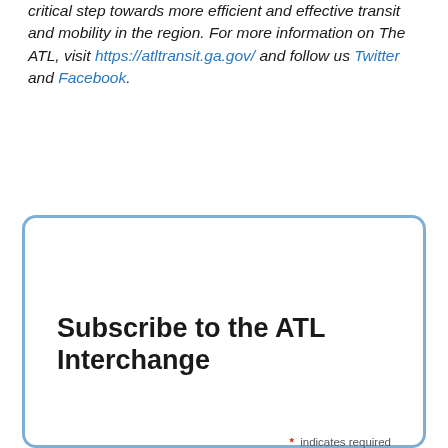critical step towards more efficient and effective transit and mobility in the region. For more information on The ATL, visit https://atltransit.ga.gov/ and follow us Twitter and Facebook.
Subscribe to the ATL Interchange
* indicates required
Email Address *